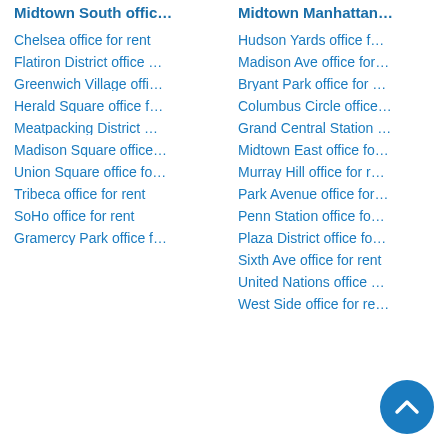Midtown South offic…
Chelsea office for rent
Flatiron District office …
Greenwich Village offi…
Herald Square office f…
Meatpacking District …
Madison Square office…
Union Square office fo…
Tribeca office for rent
SoHo office for rent
Gramercy Park office f…
Midtown Manhattan…
Hudson Yards office f…
Madison Ave office for…
Bryant Park office for …
Columbus Circle office…
Grand Central Station …
Midtown East office fo…
Murray Hill office for r…
Park Avenue office for…
Penn Station office fo…
Plaza District office fo…
Sixth Ave office for rent
United Nations office …
West Side office for re…